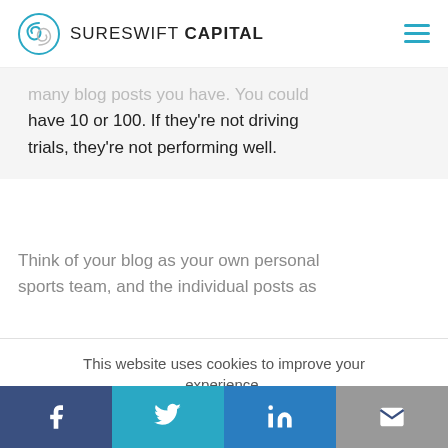[Figure (logo): SureSwift Capital logo with circular swirl icon and text]
many blog posts you have. You could have 10 or 100. If they're not driving trials, they're not performing well.
Think of your blog as your own personal sports team, and the individual posts as
This website uses cookies to improve your experience.
Cookie settings
ACCEPT
REJECT
[Figure (infographic): Social share bar with Facebook, Twitter, LinkedIn, and Email icons]